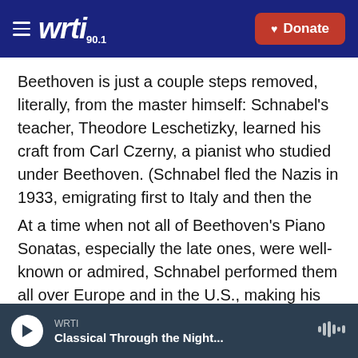WRTI 90.1 | Donate
Beethoven is just a couple steps removed, literally, from the master himself: Schnabel's teacher, Theodore Leschetizky, learned his craft from Carl Czerny, a pianist who studied under Beethoven. (Schnabel fled the Nazis in 1933, emigrating first to Italy and then the U.S. where he became a citizen in 1944. He died in Switzerland in 1951.)
At a time when not all of Beethoven's Piano Sonatas, especially the late ones, were well-known or admired, Schnabel performed them all over Europe and in the U.S., making his first American tour in 1921. Schnabel played all 32 Beethoven
WRTI | Classical Through the Night...